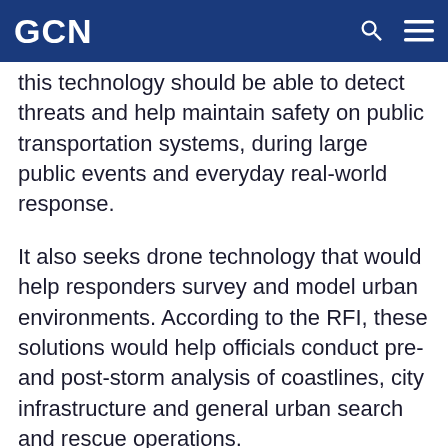GCN
this technology should be able to detect threats and help maintain safety on public transportation systems, during large public events and everyday real-world response.
It also seeks drone technology that would help responders survey and model urban environments. According to the RFI, these solutions would help officials conduct pre- and post-storm analysis of coastlines, city infrastructure and general urban search and rescue operations.
Deployable, wayfinding robotics with an AI-based mobile, video, and multi-sensor platform would be useful for perimeter security, surveillance and